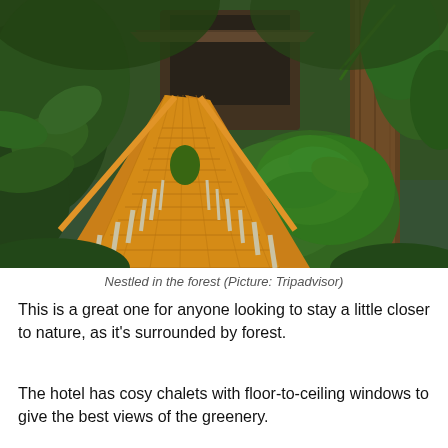[Figure (photo): A wooden boardwalk with bright yellow/orange wood planks and white railings leading through a lush green tropical forest toward a building with large glass windows. Dense green foliage and a large tree trunk visible on the right.]
Nestled in the forest (Picture: Tripadvisor)
This is a great one for anyone looking to stay a little closer to nature, as it's surrounded by forest.
The hotel has cosy chalets with floor-to-ceiling windows to give the best views of the greenery.